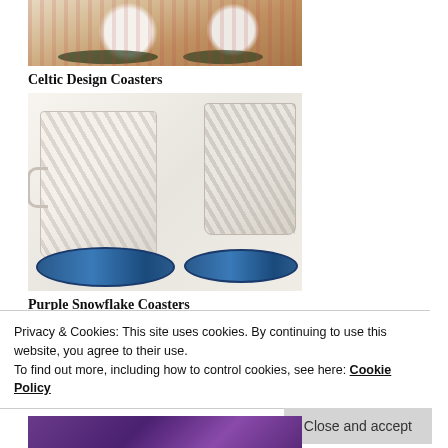[Figure (photo): Top portion of photo showing two ceramic mugs on crocheted floral coasters, viewed from above]
Celtic Design Coasters
[Figure (photo): Two ceramic mugs with chevron pattern sitting on round crocheted blue and white Celtic design coasters on a white cloth background]
Purple Snowflake Coasters
Privacy & Cookies: This site uses cookies. By continuing to use this website, you agree to their use.
To find out more, including how to control cookies, see here: Cookie Policy
Close and accept
[Figure (photo): Bottom partial view of purple snowflake crocheted coaster]